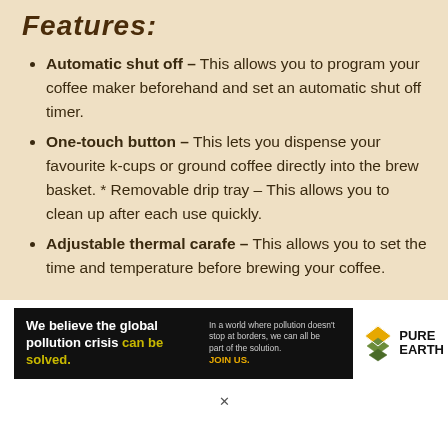Features:
Automatic shut off – This allows you to program your coffee maker beforehand and set an automatic shut off timer.
One-touch button – This lets you dispense your favourite k-cups or ground coffee directly into the brew basket. * Removable drip tray – This allows you to clean up after each use quickly.
Adjustable thermal carafe – This allows you to set the time and temperature before brewing your coffee.
[Figure (infographic): Pure Earth advertisement banner: black background with text 'We believe the global pollution crisis can be solved.' and 'In a world where pollution doesn't stop at borders, we can all be part of the solution. JOIN US.' with Pure Earth logo on right.]